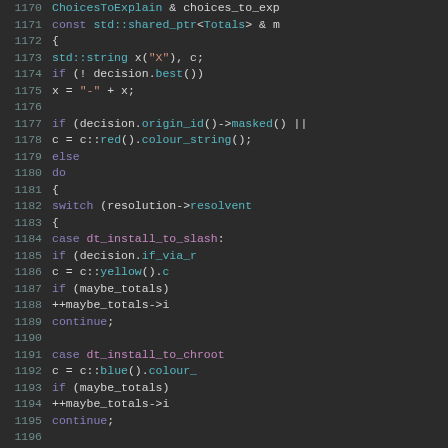[Figure (screenshot): C++ source code editor screenshot showing lines 1170-1197 with syntax highlighting on dark background. Code shows a function with string manipulation, decision logic, switch-case statements for dt_install_to_slash, dt_install_to_chroot, and dt_create_binary cases.]